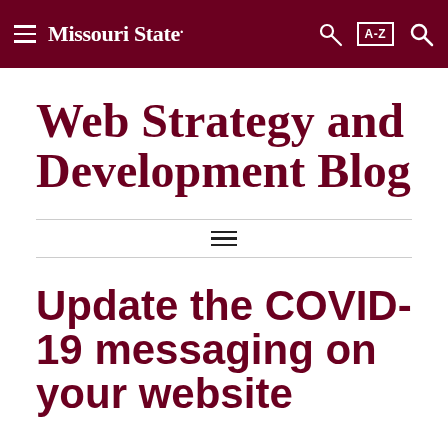Missouri State
Web Strategy and Development Blog
Update the COVID-19 messaging on your website